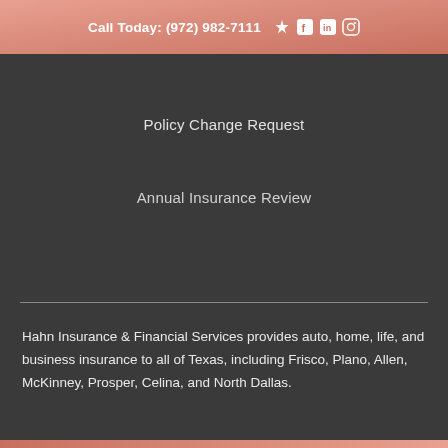Call Today: (972) 982-7111
Policy Change Request
Annual Insurance Review
Hahn Insurance & Financial Services provides auto, home, life, and business insurance to all of Texas, including Frisco, Plano, Allen, McKinney, Prosper, Celina, and North Dallas.